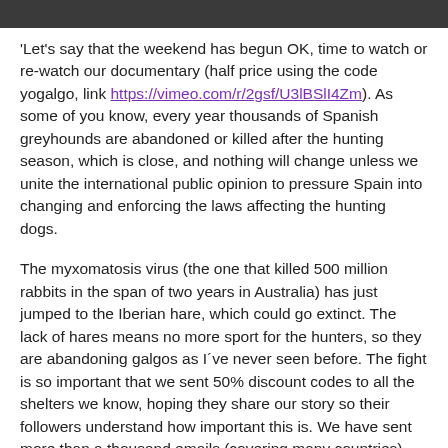[Figure (photo): Partial photo strip at top of page, dark/animal image cropped]
'Let's say that the weekend has begun OK, time to watch or re-watch our documentary (half price using the code yogalgo, link https://vimeo.com/r/2gsf/U3lBSlI4Zm). As some of you know, every year thousands of Spanish greyhounds are abandoned or killed after the hunting season, which is close, and nothing will change unless we unite the international public opinion to pressure Spain into changing and enforcing the laws affecting the hunting dogs.
The myxomatosis virus (the one that killed 500 million rabbits in the span of two years in Australia) has just jumped to the Iberian hare, which could go extinct. The lack of hares means no more sport for the hunters, so they are abandoning galgos as I´ve never seen before. The fight is so important that we sent 50% discount codes to all the shelters we know, hoping they share our story so their followers understand how important this is. We have sent more than a thousand emails (covering many countries)...